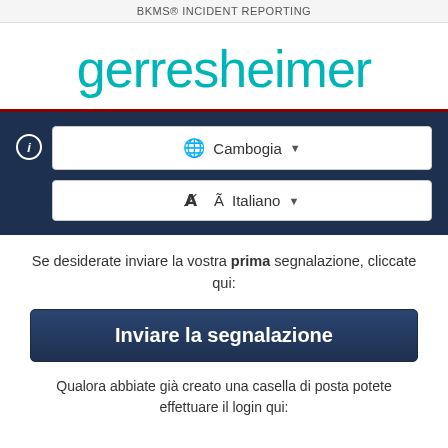BKMS® INCIDENT REPORTING
[Figure (logo): Gerresheimer logo in teal/cyan color]
Cambogia (dropdown selector with globe icon)
Italiano (dropdown selector with translate icon)
Se desiderate inviare la vostra prima segnalazione, cliccate qui:
Inviare la segnalazione
Qualora abbiate già creato una casella di posta potete effettuare il login qui: